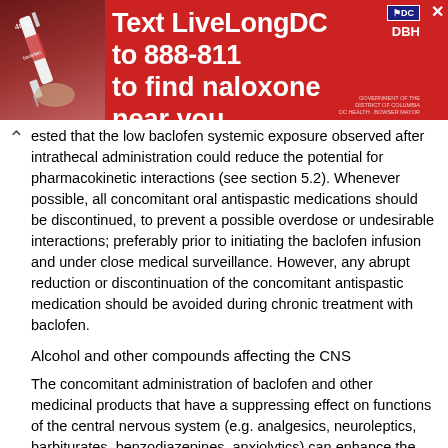[Figure (infographic): Advertisement banner with red background. Shows a syringe/naloxone image on the left and text 'Text LiveLongDC to 888-811 to find naloxone near you.' with DC and DBH logos.]
ested that the low baclofen systemic exposure observed after intrathecal administration could reduce the potential for pharmacokinetic interactions (see section 5.2). Whenever possible, all concomitant oral antispastic medications should be discontinued, to prevent a possible overdose or undesirable interactions; preferably prior to initiating the baclofen infusion and under close medical surveillance. However, any abrupt reduction or discontinuation of the concomitant antispastic medication should be avoided during chronic treatment with baclofen.
Alcohol and other compounds affecting the CNS
The concomitant administration of baclofen and other medicinal products that have a suppressing effect on functions of the central nervous system (e.g. analgesics, neuroleptics, barbiturates, benzodiazepines, anxiolytics) can enhance the action of baclofen. In particular, the concomitant intake of alcohol should be avoided as the interactions with alcohol are unpredictable.